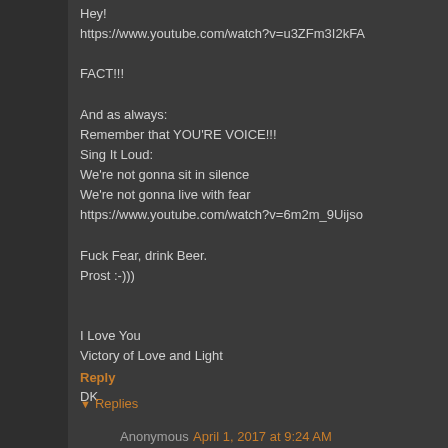Hey!
https://www.youtube.com/watch?v=u3ZFm3I2kFA

FACT!!!

And as always:
Remember that YOU'RE VOICE!!!
Sing It Loud:
We're not gonna sit in silence
We're not gonna live with fear
https://www.youtube.com/watch?v=6m2m_9Uijso

Fuck Fear, drink Beer.
Prost :-)))


I Love You
Victory of Love and Light

DK
Reply
▼ Replies
Anonymous  April 1, 2017 at 9:24 AM